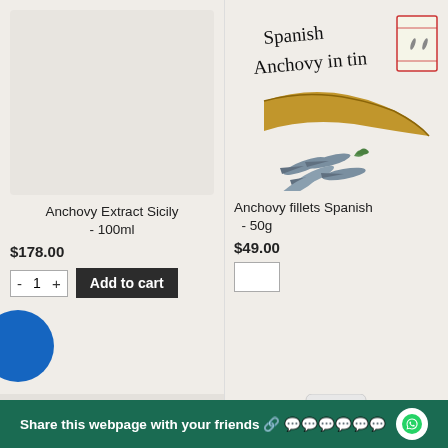[Figure (photo): Light gray/beige placeholder image for Anchovy Extract Sicily product (left product cell top)]
[Figure (photo): Spanish Anchovy in tin product image: handwritten-style text 'Spanish Anchovy in tin', a golden-brown anchovy fillet, a tin label, and small fresh anchovies with herbs]
Anchovy Extract Sicily - 100ml
$178.00
Anchovy fillets Spanish - 50g
$49.00
[Figure (photo): Bottom left product: empty light beige placeholder]
[Figure (photo): Bottom right product: jar with white lid visible at bottom of frame]
Share this webpage with your friends 🔗 💬💬💬💬💬💬